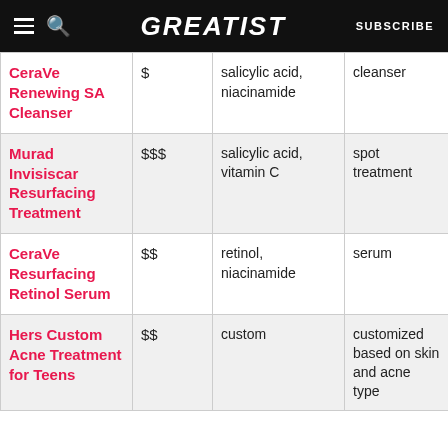GREATIST | SUBSCRIBE
| Product | Price | Key Ingredients | Type |
| --- | --- | --- | --- |
| CeraVe Renewing SA Cleanser | $ | salicylic acid, niacinamide | cleanser |
| Murad Invisiscar Resurfacing Treatment | $$$ | salicylic acid, vitamin C | spot treatment |
| CeraVe Resurfacing Retinol Serum | $$ | retinol, niacinamide | serum |
| Hers Custom Acne Treatment for Teens | $$ | custom | customized based on skin and acne type |